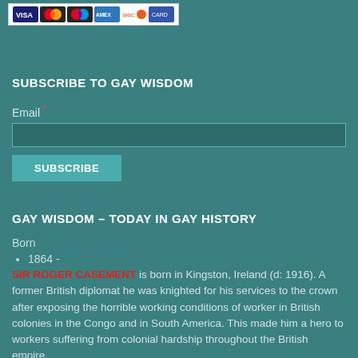[Figure (other): Row of credit card logos: VISA, Mastercard, Maestro, American Express, Discover, and one other card brand]
SUBSCRIBE TO GAY WISDOM
Email *
GAY WISDOM – TODAY IN GAY HISTORY
Born
1864 -
SIR ROGER CASEMENT is born in Kingston, Ireland (d: 1916). A former British diplomat he was knighted for his services to the crown after exposing the horrible working conditions of worker in British colonies in the Congo and in South America. This made him a hero to workers suffering from colonial hardship throughout the British empire.